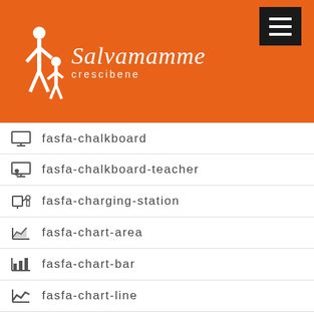[Figure (logo): Salvamamme Crescibene logo with white silhouette of adult and child on orange background]
fasfa-chalkboard
fasfa-chalkboard-teacher
fasfa-charging-station
fasfa-chart-area
fasfa-chart-bar
fasfa-chart-line